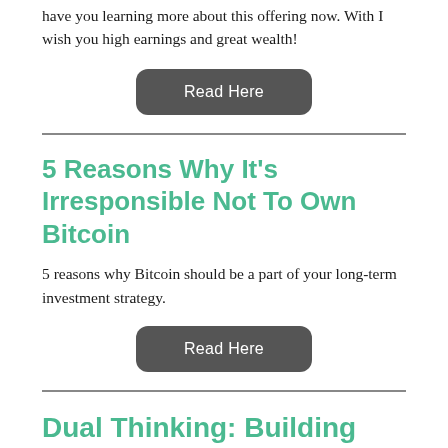have you learning more about this offering now. With I wish you high earnings and great wealth!
Read Here
5 Reasons Why It's Irresponsible Not To Own Bitcoin
5 reasons why Bitcoin should be a part of your long-term investment strategy.
Read Here
Dual Thinking: Building Rock Solid Opinions
What if you couldn't hold a public opinion without the